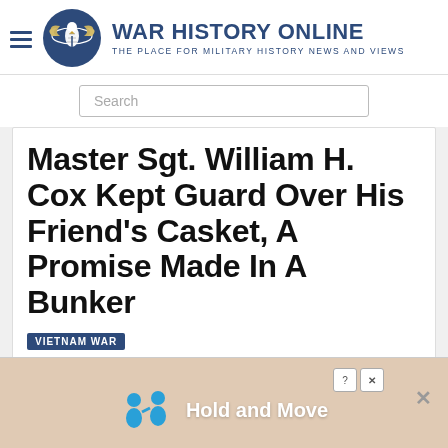WAR HISTORY ONLINE — THE PLACE FOR MILITARY HISTORY NEWS AND VIEWS
Search
Master Sgt. William H. Cox Kept Guard Over His Friend's Casket, A Promise Made In A Bunker
VIETNAM WAR
Feb 24, 2020 Ian Harvey, Guest Author
[Figure (screenshot): Partial article image strip and advertisement banner reading 'Hold and Move']